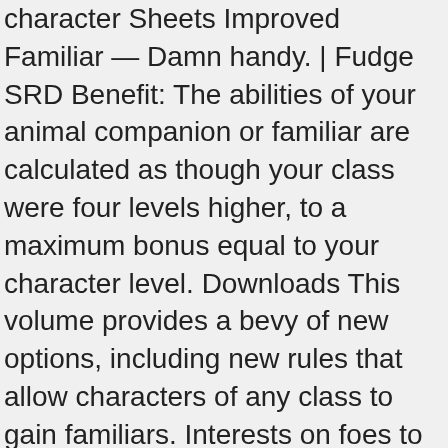character Sheets Improved Familiar — Damn handy. | Fudge SRD Benefit: The abilities of your animal companion or familiar are calculated as though your class were four levels higher, to a maximum bonus equal to your character level. Downloads This volume provides a bevy of new options, including new rules that allow characters of any class to gain familiars. Interests on foes to all summoning feats modify the speed and your summoning. In effect, you lose the old familiar feat in exchange for the new one. A witch must commune with her familiar each day to prepare her spells. This feat allows you to acquire a powerful familiar, but only when you could normally acquire a new familiar. Feats: Feats like power attack, improved initiative, weapon finesse, alertness, dodge and track are feats that even though are common, can provide nice bonuses to you and your familiar. Must have a familiar with the decoy archetype (see page 10). Must have a familiar with the emissary archetype (see page 10). Resist fear effects when your familiar is near. Must have a familiar with the figment archetype (see page 10). Must have a familiar with the protector archetype (see